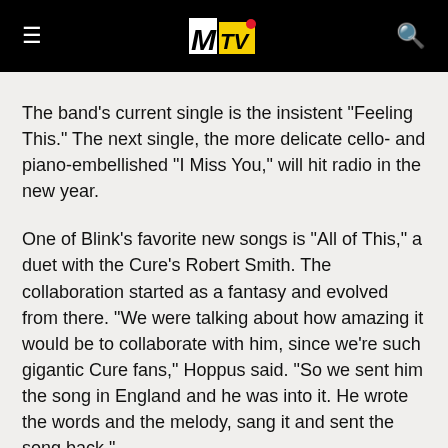MTV
The band's current single is the insistent "Feeling This." The next single, the more delicate cello- and piano-embellished "I Miss You," will hit radio in the new year.
One of Blink's favorite new songs is "All of This," a duet with the Cure's Robert Smith. The collaboration started as a fantasy and evolved from there. "We were talking about how amazing it would be to collaborate with him, since we're such gigantic Cure fans," Hoppus said. "So we sent him the song in England and he was into it. He wrote the words and the melody, sang it and sent the song back."
As busy as Barker will be for the next couple of years in Blink-182, he plans to spend two weeks in January working on the second Transplants album at Tim